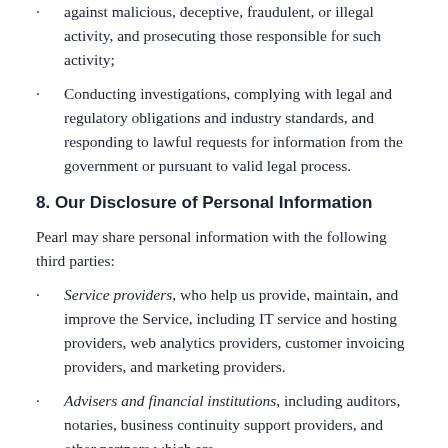against malicious, deceptive, fraudulent, or illegal activity, and prosecuting those responsible for such activity;
Conducting investigations, complying with legal and regulatory obligations and industry standards, and responding to lawful requests for information from the government or pursuant to valid legal process.
8. Our Disclosure of Personal Information
Pearl may share personal information with the following third parties:
Service providers, who help us provide, maintain, and improve the Service, including IT service and hosting providers, web analytics providers, customer invoicing providers, and marketing providers.
Advisers and financial institutions, including auditors, notaries, business continuity support providers, and other partners which are...